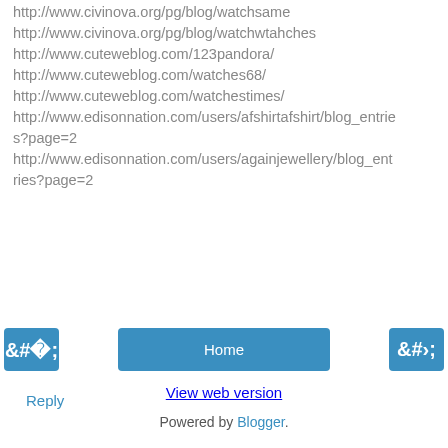http://www.civinova.org/pg/blog/watchsame
http://www.civinova.org/pg/blog/watchwtahches
http://www.cuteweblog.com/123pandora/
http://www.cuteweblog.com/watches68/
http://www.cuteweblog.com/watchestimes/
http://www.edisonnation.com/users/afshirtafshirt/blog_entries?page=2
http://www.edisonnation.com/users/againjewellery/blog_entries?page=2
Reply
‹
Home
›
View web version
Powered by Blogger.